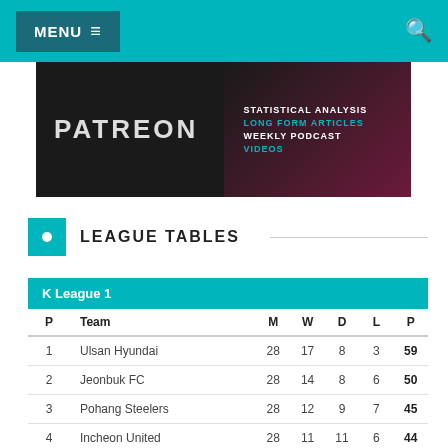MENU ≡
[Figure (screenshot): Patreon banner with text: STATISTICAL ANALYSIS, LONG FORM ARTICLES, WEEKLY PODCAST, VIDEOS]
LEAGUE TABLES
| P | Team | M | W | D | L | P |
| --- | --- | --- | --- | --- | --- | --- |
| 1 | Ulsan Hyundai | 28 | 17 | 8 | 3 | 59 |
| 2 | Jeonbuk FC | 28 | 14 | 8 | 6 | 50 |
| 3 | Pohang Steelers | 28 | 12 | 9 | 7 | 45 |
| 4 | Incheon United | 28 | 11 | 11 | 6 | 44 |
| 5 | Jeju United | 28 | 11 | 8 | 9 | 41 |
| 6 | Suwon FC | 28 | 10 | 6 | 12 | 36 |
| 7 | … | 28 | 10 | 6 | 12 | 37 |